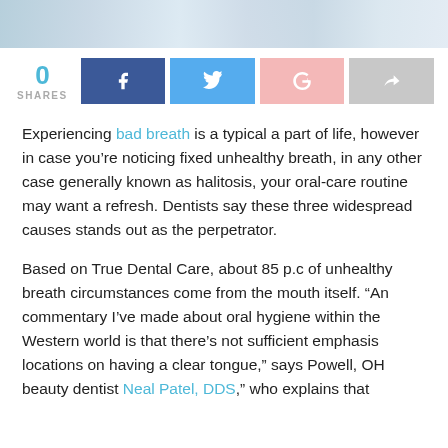[Figure (photo): Partial view of a photo at the top of the page, appears to be people smiling, teal/blue tones]
0 SHARES with social share buttons: Facebook, Twitter, Google+, Share
Experiencing bad breath is a typical a part of life, however in case you’re noticing fixed unhealthy breath, in any other case generally known as halitosis, your oral-care routine may want a refresh. Dentists say these three widespread causes stands out as the perpetrator.
Based on True Dental Care, about 85 p.c of unhealthy breath circumstances come from the mouth itself. “An commentary I’ve made about oral hygiene within the Western world is that there’s not sufficient emphasis locations on having a clear tongue,” says Powell, OH beauty dentist Neal Patel, DDS,” who explains that